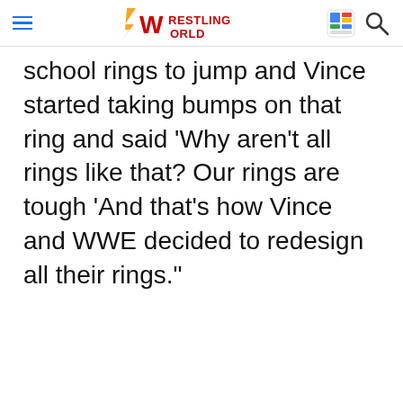Wrestling World
school rings to jump and Vince started taking bumps on that ring and said 'Why aren't all rings like that? Our rings are tough 'And that's how Vince and WWE decided to redesign all their rings."